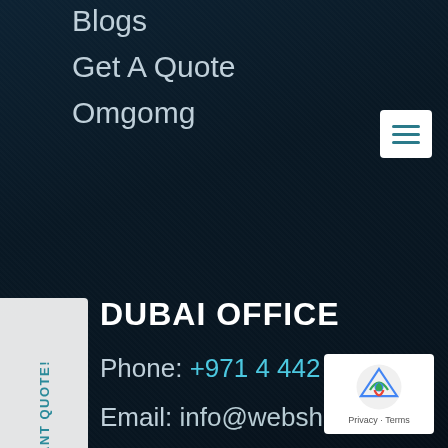Blogs
Get A Quote
Omgomg
DUBAI OFFICE
Phone: +971 4 442 6518
Email: info@webshack.ae
Address: 2202/2203, JBC1,Cluster G, JLT, Dubai, United Arab Emirates